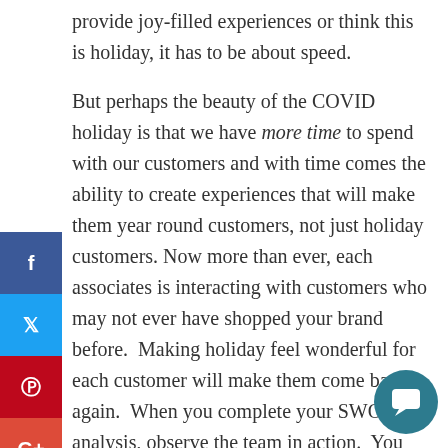provide joy-filled experiences or think this is holiday, it has to be about speed.
But perhaps the beauty of the COVID holiday is that we have more time to spend with our customers and with time comes the ability to create experiences that will make them year round customers, not just holiday customers. Now more than ever, each associates is interacting with customers who may not ever have shopped your brand before. Making holiday feel wonderful for each customer will make them come back again. When you complete your SWOT analysis, observe the team in action. You will